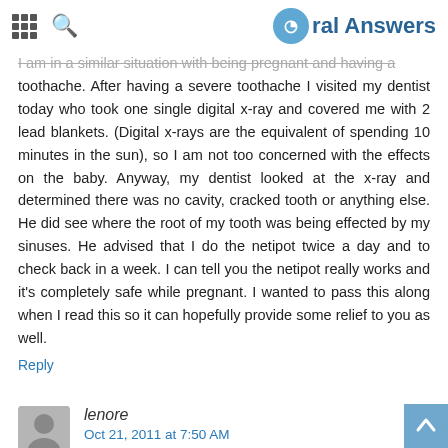Oral Answers
I am in a similar situation with being pregnant and having a toothache. After having a severe toothache I visited my dentist today who took one single digital x-ray and covered me with 2 lead blankets. (Digital x-rays are the equivalent of spending 10 minutes in the sun), so I am not too concerned with the effects on the baby. Anyway, my dentist looked at the x-ray and determined there was no cavity, cracked tooth or anything else. He did see where the root of my tooth was being effected by my sinuses. He advised that I do the netipot twice a day and to check back in a week. I can tell you the netipot really works and it's completely safe while pregnant. I wanted to pass this along when I read this so it can hopefully provide some relief to you as well.
Reply
lenore
Oct 21, 2011 at 7:50 AM
All my upper left teeth hurt all the time. I went to the dentist, had